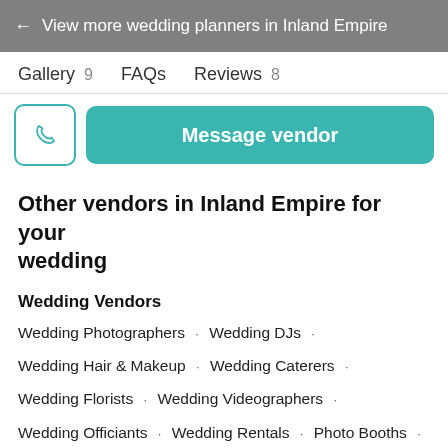← View more wedding planners in Inland Empire
Gallery 9   FAQs   Reviews 8
[Figure (screenshot): Phone call button icon (teal outline) and teal 'Message vendor' button]
Other vendors in Inland Empire for your wedding
Wedding Vendors
Wedding Photographers · Wedding DJs ·
Wedding Hair & Makeup · Wedding Caterers ·
Wedding Florists · Wedding Videographers ·
Wedding Officiants · Wedding Rentals · Photo Booths ·
Wedding Bands · Wedding Dresses · Wedding Cakes ·